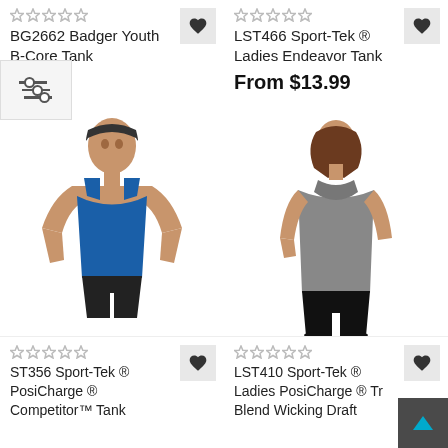BG2662 Badger Youth B-Core Tank
$8.99 (price, partially obscured)
LST466 Sport-Tek ® Ladies Endeavor Tank
From $13.99
[Figure (photo): Male model wearing a blue tank top (BG2662 Badger Youth B-Core Tank)]
[Figure (photo): Female model wearing a gray hooded tank top (LST466 Sport-Tek Ladies Endeavor Tank)]
ST356 Sport-Tek ® PosiCharge ® Competitor™ Tank (partially visible)
LST410 Sport-Tek ® Ladies PosiCharge ® Tr... Blend Wicking Draft... (partially visible)